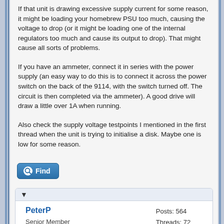If that unit is drawing excessive supply current for some reason, it might be loading your homebrew PSU too much, causing the voltage to drop (or it might be loading one of the internal regulators too much and cause its output to drop). That might cause all sorts of problems.
If you have an ammeter, connect it in series with the power supply (an easy way to do this is to connect it across the power switch on the back of the 9114, with the switch turned off. The circuit is then completed via the ammeter). A good drive will draw a little over 1A when running.
Also check the supply voltage testpoints I mentioned in the first thread when the unit is trying to initialise a disk. Maybe one is low for some reason.
Find (button)
| PeterP | Posts: 564 |
| Senior Member | Threads: 72 |
|  | Joined: Sep 2005 |